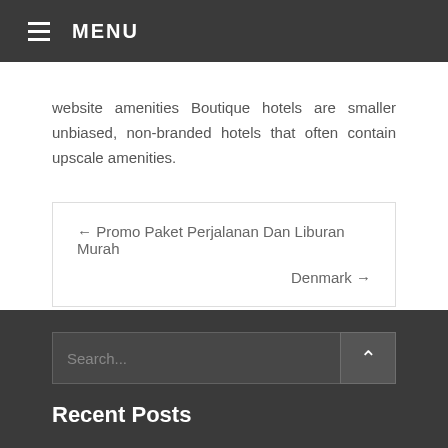MENU
website amenities Boutique hotels are smaller unbiased, non-branded hotels that often contain upscale amenities.
← Promo Paket Perjalanan Dan Liburan Murah
Denmark →
Recent Posts